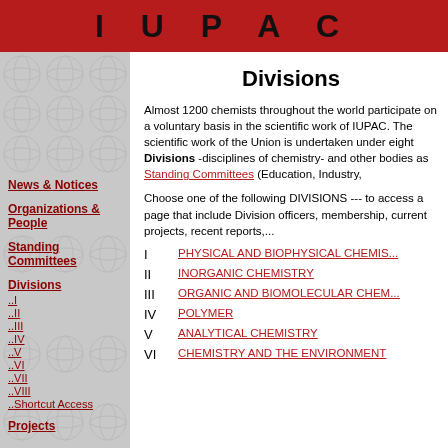IUPAC
Divisions
Almost 1200 chemists throughout the world participate on a voluntary basis in the scientific work of IUPAC. The scientific work of the Union is undertaken under eight Divisions -disciplines of chemistry- and other bodies as Standing Committees (Education, Industry, ...
Choose one of the following DIVISIONS --- to access a page that include Division officers, membership, current projects, recent reports,...
I   PHYSICAL AND BIOPHYSICAL CHEMISTRY
II  INORGANIC CHEMISTRY
III ORGANIC AND BIOMOLECULAR CHEMISTRY
IV  POLYMER
V   ANALYTICAL CHEMISTRY
VI  CHEMISTRY AND THE ENVIRONMENT
News & Notices
Organizations & People
Standing Committees
Divisions
..I
..II
..III
..IV
..V
..VI
..VII
..VIII
..Shortcut Access
Projects